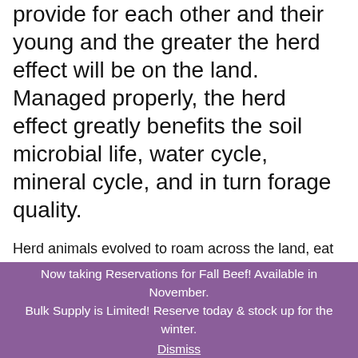provide for each other and their young and the greater the herd effect will be on the land.  Managed properly, the herd effect greatly benefits the soil microbial life, water cycle, mineral cycle, and in turn forage quality.
Herd animals evolved to roam across the land, eat the nutrition, trample in the fertilizer and move on, not returning until the area was recovered.  Plant health and soil microbial life are dependant on this animal impact and migration cycle.  Gone are the days of open land without fences when herd animals moved across the region together. The natural model mimics the migration of herding ruminants by dividing a large area in to small
Now taking Reservations for Fall Beef! Available in November. Bulk Supply is Limited! Reserve today & stock up for the winter.
Dismiss